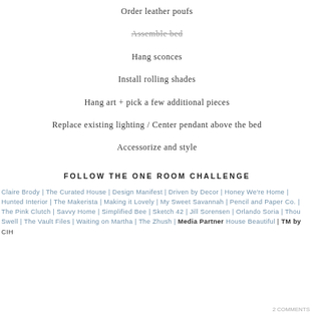Order leather poufs
Assemble bed (strikethrough)
Hang sconces
Install rolling shades
Hang art + pick a few additional pieces
Replace existing lighting / Center pendant above the bed
Accessorize and style
FOLLOW THE ONE ROOM CHALLENGE
Claire Brody | The Curated House | Design Manifest | Driven by Decor | Honey We're Home | Hunted Interior | The Makerista | Making it Lovely | My Sweet Savannah | Pencil and Paper Co. | The Pink Clutch | Savvy Home | Simplified Bee | Sketch 42 | Jill Sorensen | Orlando Soria | Thou Swell | The Vault Files | Waiting on Martha | The Zhush | Media Partner House Beautiful | TM by CIH
2 COMMENTS